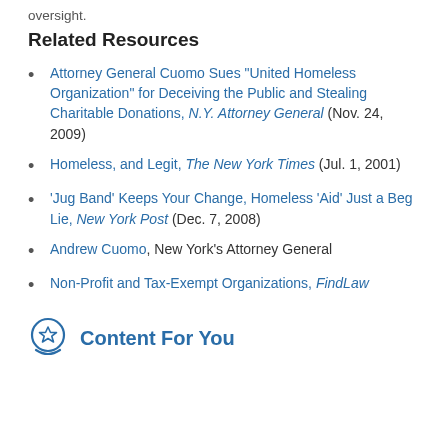oversight.
Related Resources
Attorney General Cuomo Sues "United Homeless Organization" for Deceiving the Public and Stealing Charitable Donations, N.Y. Attorney General (Nov. 24, 2009)
Homeless, and Legit, The New York Times (Jul. 1, 2001)
'Jug Band' Keeps Your Change, Homeless 'Aid' Just a Beg Lie, New York Post (Dec. 7, 2008)
Andrew Cuomo, New York's Attorney General
Non-Profit and Tax-Exempt Organizations, FindLaw
Content For You